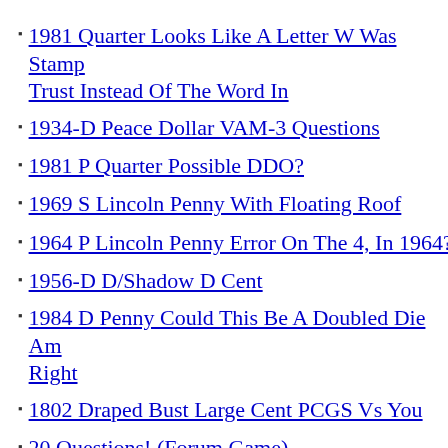1981 Quarter Looks Like A Letter W Was Stamped Instead Of The Word In Trust Instead Of The Word In
1934-D Peace Dollar VAM-3 Questions
1981 P Quarter Possible DDO?
1969 S Lincoln Penny With Floating Roof
1964 P Lincoln Penny Error On The 4, In 1964?
1956-D D/Shadow D Cent
1984 D Penny Could This Be A Doubled Die Am Right
1802 Draped Bust Large Cent PCGS Vs You
20 Questions! (Forum Game)
How Far Back Can We Go? Seventh Edition!
1995 DDO Lincoln Cent On Liberty